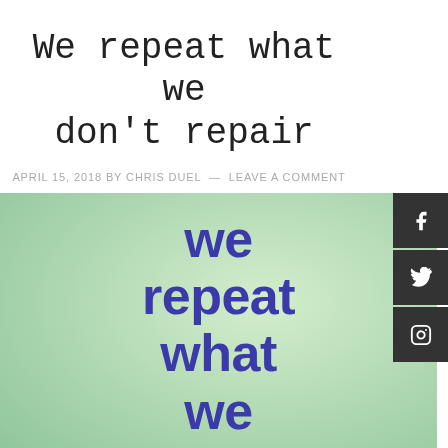We repeat what we don't repair
APRIL 15, 2018 BY CHRIS DUEL — LEAVE A COMMENT
[Figure (illustration): Green gradient background with bold purple text reading: we repeat what we don't (partially visible)]